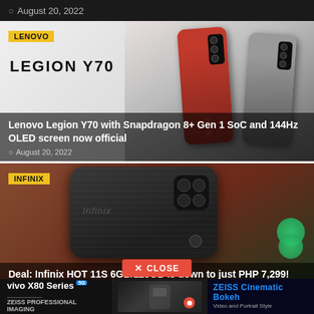August 20, 2022
[Figure (photo): Lenovo Legion Y70 smartphone article card with LENOVO tag, Legion Y70 logo, red and gray phone images]
Lenovo Legion Y70 with Snapdragon 8+ Gen 1 SoC and 144Hz OLED screen now official
August 20, 2022
[Figure (photo): Infinix HOT 11S smartphone article card with INFINIX tag, dark phone image on red-brown background with green clover]
Deal: Infinix HOT 11S 6GB/128GB is down to just PHP 7,299!
August 20, 2022
[Figure (advertisement): Vivo X80 Series 5G advertisement banner with ZEISS Professional Imaging and ZEISS Cinematic Bokeh tagline]